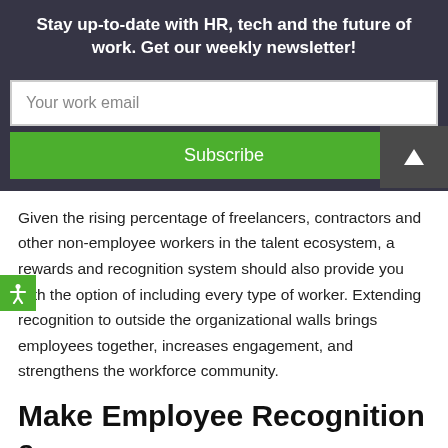Stay up-to-date with HR, tech and the future of work. Get our weekly newsletter!
Your work email
Subscribe
Given the rising percentage of freelancers, contractors and other non-employee workers in the talent ecosystem, a rewards and recognition system should also provide you with the option of including every type of worker. Extending recognition to outside the organizational walls brings employees together, increases engagement, and strengthens the workforce community.
Make Employee Recognition a Priority